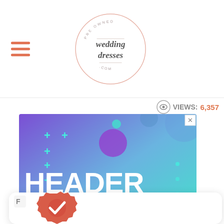[Figure (logo): Pre Owned Wedding Dresses .com circular logo with script lettering and hamburger menu icon to the left]
Views: 6,357
[Figure (screenshot): HeaderBidding.com advertisement with purple-teal gradient background, decorative plus signs and dots, large white text reading HEADER BIDDING.COM, subtitle: Your source for all things programmatic advertising.]
[Figure (other): White card with freestar icon at top left and a red/coral verified checkmark badge icon at bottom left]